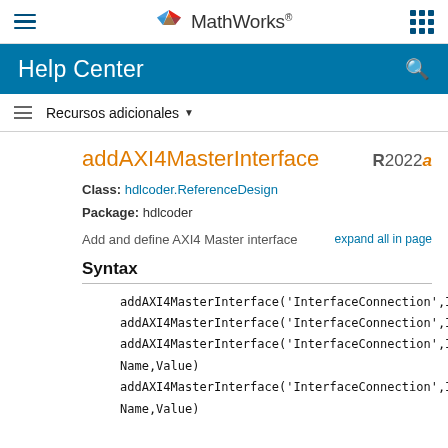MathWorks Help Center
addAXI4MasterInterface
Class: hdlcoder.ReferenceDesign
Package: hdlcoder
Add and define AXI4 Master interface
Syntax
addAXI4MasterInterface('InterfaceConnection',I
addAXI4MasterInterface('InterfaceConnection',I
addAXI4MasterInterface('InterfaceConnection',I
Name,Value)
addAXI4MasterInterface('InterfaceConnection',I
Name,Value)